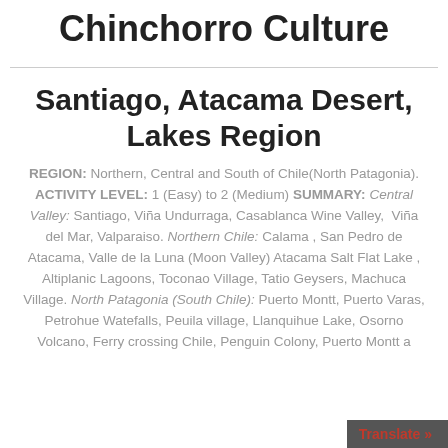Chinchorro Culture
Santiago, Atacama Desert, Lakes Region
REGION: Northern, Central and South of Chile(North Patagonia). ACTIVITY LEVEL: 1 (Easy) to 2 (Medium) SUMMARY: Central Valley: Santiago, Viña Undurraga, Casablanca Wine Valley, Viña del Mar, Valparaiso. Northern Chile: Calama , San Pedro de Atacama, Valle de la Luna (Moon Valley) Atacama Salt Flat Lake , Altiplanic Lagoons, Toconao Village, Tatio Geysers, Machuca Village. North Patagonia (South Chile): Puerto Montt, Puerto Varas, Petrohue Watefalls, Peuila village, Llanquihue Lake, Osorno Volcano, Ferry crossing Chile, Penguin Colony, Puerto Montt a…
Translate »